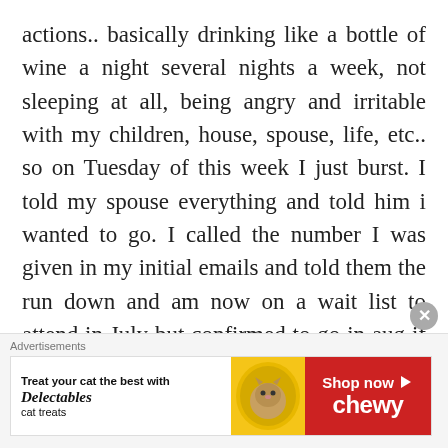actions.. basically drinking like a bottle of wine a night several nights a week, not sleeping at all, being angry and irritable with my children, house, spouse, life, etc.. so on Tuesday of this week I just burst. I told my spouse everything and told him i wanted to go. I called the number I was given in my initial emails and told them the run down and am now on a wait list to attend in July but confirmed to go in aug if i don't get in in July. They have been
[Figure (infographic): Advertisement banner for Chewy cat treats (Delectables brand). White left section with text 'Treat your cat the best with Delectables cat treats', a yellow circle with a cat photo in the middle, and a red right section with 'Shop now' and 'chewy' logo in white.]